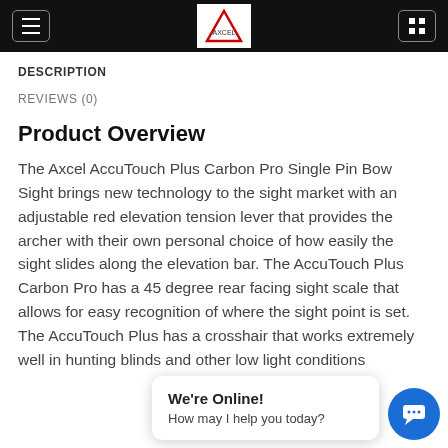[Figure (screenshot): Dark navigation header bar with hamburger menu button on left, logo in center, and grid/menu icon on right]
DESCRIPTION
REVIEWS (0)
Product Overview
The Axcel AccuTouch Plus Carbon Pro Single Pin Bow Sight brings new technology to the sight market with an adjustable red elevation tension lever that provides the archer with their own personal choice of how easily the sight slides along the elevation bar. The AccuTouch Plus Carbon Pro has a 45 degree rear facing sight scale that allows for easy recognition of where the sight point is set. The AccuTouch Plus has a crosshair that works extremely well in hunting blinds and other low light conditions
[Figure (screenshot): Live chat widget overlay: speech bubble with 'We're Online! How may I help you today?' and blue circular chat button with speech bubble icon]